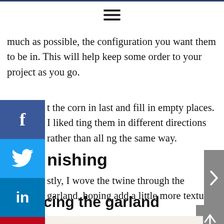≡
much as possible, the configuration you want them to be in. This will help keep some order to your project as you go.
t the corn in last and fill in empty places. I liked ting them in different directions rather than all ng the same way.
nishing
stly, I wove the twine through the garland, hoping add a little more texture.
lacing the garland
[Figure (photo): Photo of autumn/fall garland with red and orange leaves]